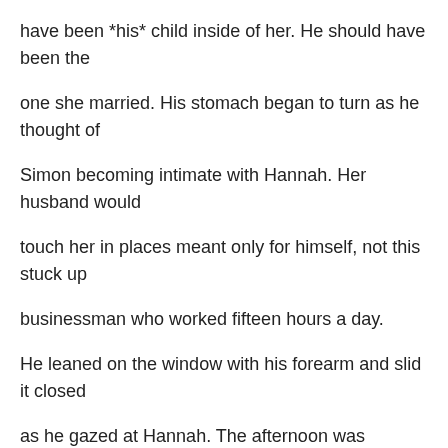have been *his* child inside of her. He should have been the
one she married. His stomach began to turn as he thought of
Simon becoming intimate with Hannah. Her husband would
touch her in places meant only for himself, not this stuck up
businessman who worked fifteen hours a day.
He leaned on the window with his forearm and slid it closed
as he gazed at Hannah. The afternoon was becoming